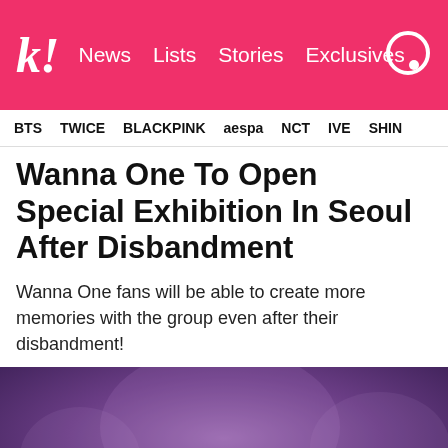k! News Lists Stories Exclusives
BTS TWICE BLACKPINK aespa NCT IVE SHINE
Wanna One To Open Special Exhibition In Seoul After Disbandment
Wanna One fans will be able to create more memories with the group even after their disbandment!
[Figure (photo): Group photo of Wanna One members dressed in black outfits on a purple-lit stage]